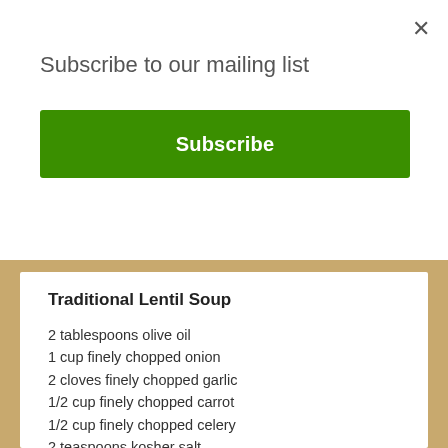×
Subscribe to our mailing list
Subscribe
Traditional Lentil Soup
2 tablespoons olive oil
1 cup finely chopped onion
2 cloves finely chopped garlic
1/2 cup finely chopped carrot
1/2 cup finely chopped celery
2 teaspoons kosher salt
1 pound lentils, picked and rinsed
1 cup peeled and chopped tomatoes
2 quarts chicken or vegetable broth
1/2 teaspoon freshly ground coriander
1/2 teaspoon freshly ground toasted cumin (optional)